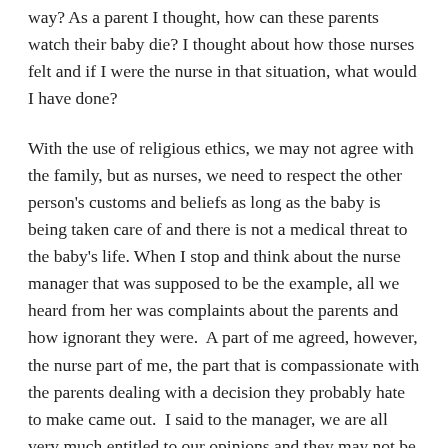way? As a parent I thought, how can these parents watch their baby die? I thought about how those nurses felt and if I were the nurse in that situation, what would I have done?
With the use of religious ethics, we may not agree with the family, but as nurses, we need to respect the other person's customs and beliefs as long as the baby is being taken care of and there is not a medical threat to the baby's life. When I stop and think about the nurse manager that was supposed to be the example, all we heard from her was complaints about the parents and how ignorant they were.  A part of me agreed, however, the nurse part of me, the part that is compassionate with the parents dealing with a decision they probably hate to make came out.  I said to the manager, we are all very much entitled to our opinions and they may not be the views of our patients, but in this crisis, we just need to support the parents because the baby